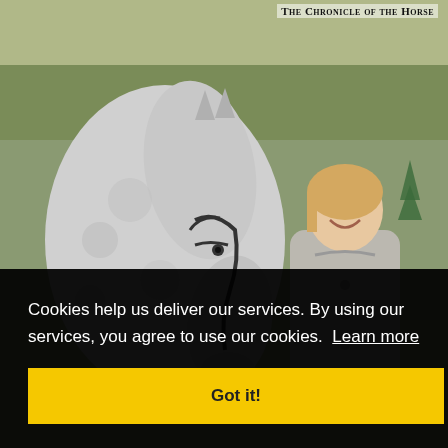The Chronicle of the Horse
[Figure (photo): A smiling blonde woman in a grey jacket standing beside a dapple-grey horse with black bridle, at an equestrian show ground with white fencing and jumps in the background.]
Cookies help us deliver our services. By using our services, you agree to use our cookies. Learn more
Got it!
n the